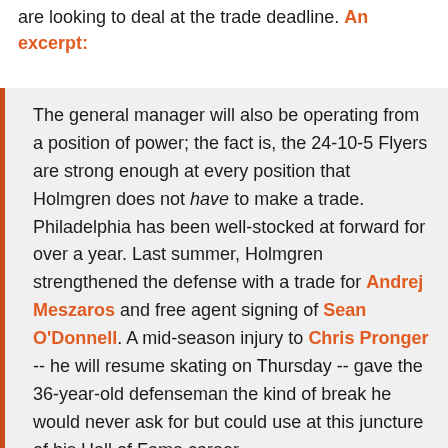Fanhouse says that the Flyers and GM Paul Holmgren are looking to deal at the trade deadline. An excerpt:
The general manager will also be operating from a position of power; the fact is, the 24-10-5 Flyers are strong enough at every position that Holmgren does not have to make a trade. Philadelphia has been well-stocked at forward for over a year. Last summer, Holmgren strengthened the defense with a trade for Andrej Meszaros and free agent signing of Sean O'Donnell. A mid-season injury to Chris Pronger -- he will resume skating on Thursday -- gave the 36-year-old defenseman the kind of break he would never ask for but could use at this juncture of his Hall of Fame career.

[...]

What will Holmgren do to improve his contending